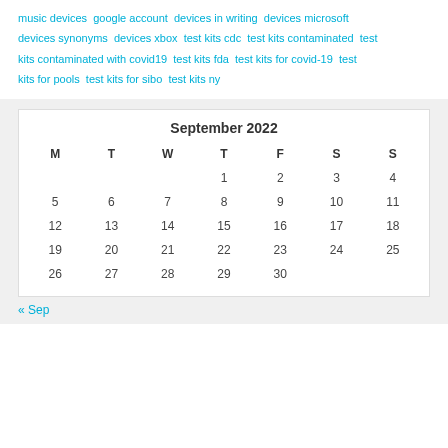music devices google account devices in writing devices microsoft devices synonyms devices xbox test kits cdc test kits contaminated test kits contaminated with covid19 test kits fda test kits for covid-19 test kits for pools test kits for sibo test kits ny
| M | T | W | T | F | S | S |
| --- | --- | --- | --- | --- | --- | --- |
|  |  |  | 1 | 2 | 3 | 4 |
| 5 | 6 | 7 | 8 | 9 | 10 | 11 |
| 12 | 13 | 14 | 15 | 16 | 17 | 18 |
| 19 | 20 | 21 | 22 | 23 | 24 | 25 |
| 26 | 27 | 28 | 29 | 30 |  |  |
« Sep